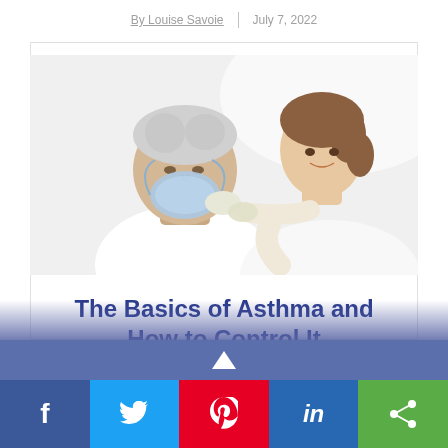By Louise Savoie | July 7, 2022
[Figure (photo): A healthcare professional in a white coat and gloves holding an oxygen/nebulizer mask over an elderly white-haired male patient's face, in a clinical setting.]
The Basics of Asthma and How to Control It
[Figure (infographic): Social media sharing bar with Facebook, Twitter, Pinterest, LinkedIn, and share buttons in blue, light blue, red, dark blue, and green respectively.]